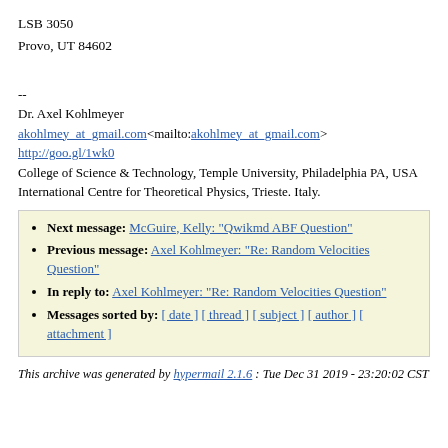LSB 3050
Provo, UT 84602
--
Dr. Axel Kohlmeyer
akohlmey_at_gmail.com<mailto:akohlmey_at_gmail.com>
http://goo.gl/1wk0
College of Science & Technology, Temple University, Philadelphia PA, USA
International Centre for Theoretical Physics, Trieste. Italy.
Next message: McGuire, Kelly: "Qwikmd ABF Question"
Previous message: Axel Kohlmeyer: "Re: Random Velocities Question"
In reply to: Axel Kohlmeyer: "Re: Random Velocities Question"
Messages sorted by: [ date ] [ thread ] [ subject ] [ author ] [ attachment ]
This archive was generated by hypermail 2.1.6 : Tue Dec 31 2019 - 23:20:02 CST